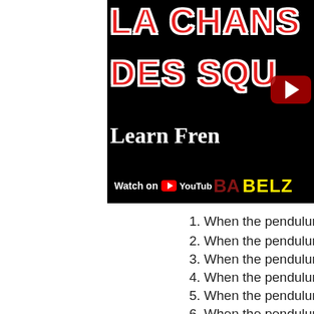[Figure (screenshot): YouTube video thumbnail showing 'LA CHANS... DES SQU...' in large red text with white outline on black background, 'Learn Fren...' in white serif text, 'BELZ...' in yellow bold text, a YouTube play button overlay, and a 'Watch on YouTube' bar at the bottom.]
1. When the pendulum rings one, a big skeleton
2. When the pendulum rings two, two big skelet...
3. When the pendulum rings three, three big ske...
4. When the pendulum rings four, four big skelet...
5. When the pendulum rings five, five big skeleton...
6. When the pendulum rings six, six big sk...